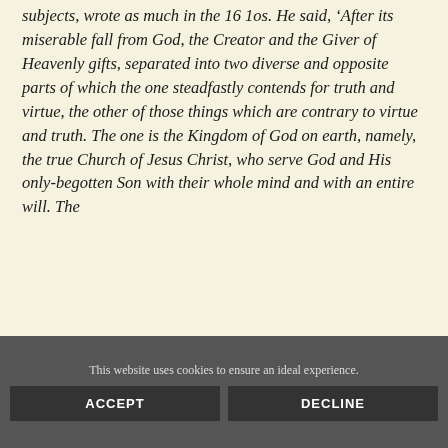subjects, wrote as much in the 16 1os. He said, ‘After its miserable fall from God, the Creator and the Giver of Heavenly gifts, separated into two diverse and opposite parts of which the one steadfastly contends for truth and virtue, the other of those things which are contrary to virtue and truth. The one is the Kingdom of God on earth, namely, the true Church of Jesus Christ, who serve God and His only-begotten Son with their whole mind and with an entire will. The
This website uses cookies to ensure an ideal experience.
ACCEPT
DECLINE